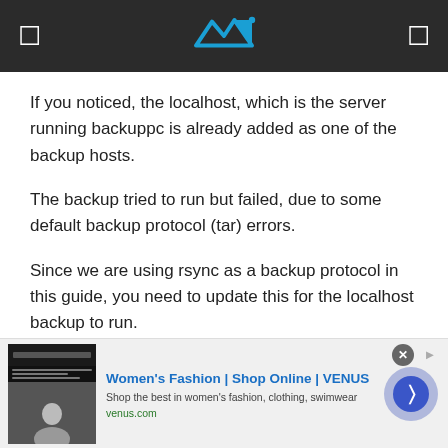Navigation header with logo
If you noticed, the localhost, which is the server running backuppc is already added as one of the backup hosts.
The backup tried to run but failed, due to some default backup protocol (tar) errors.
Since we are using rsync as a backup protocol in this guide, you need to update this for the localhost backup to run.
Hence, click on hostname (localhost for example) > edit config > Xfer > XferMethod > Rsync.